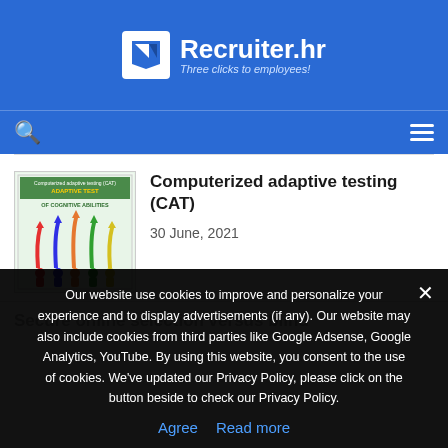Recruiter.hr — Three clicks to employees!
[Figure (logo): Recruiter.hr logo with white checkmark icon and tagline 'Three clicks to employees!']
Computerized adaptive testing (CAT)
30 June, 2021
[Figure (illustration): Adaptive Test of Cognitive Abilities book cover showing colorful arrows and human figures]
Secure online selection versus blind...
Our website use cookies to improve and personalize your experience and to display advertisements (if any). Our website may also include cookies from third parties like Google Adsense, Google Analytics, YouTube. By using this website, you consent to the use of cookies. We've updated our Privacy Policy, please click on the button beside to check our Privacy Policy.
Agree   Read more